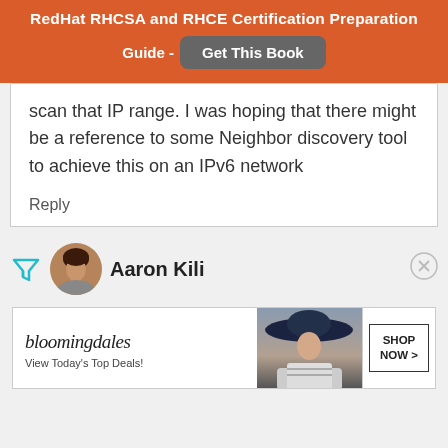RedHat RHCSA and RHCE Certification Preparation Guide - Get This Book
scan that IP range. I was hoping that there might be a reference to some Neighbor discovery tool to achieve this on an IPv6 network
Reply
Aaron Kili
[Figure (photo): Bloomingdale's advertisement banner: logo, 'View Today's Top Deals!' text, photo of woman in hat, and SHOP NOW button]